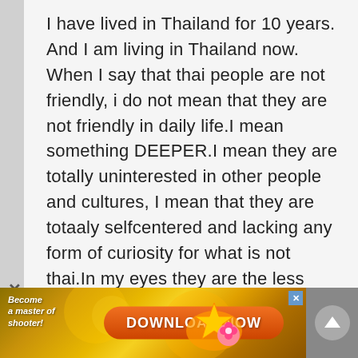I have lived in Thailand for 10 years. And I am living in Thailand now. When I say that thai people are not friendly, i do not mean that they are not friendly in daily life.I mean something DEEPER.I mean they are totally uninterested in other people and cultures, I mean that they are totaaly selfcentered and lacking any form of curiosity for what is not thai.In my eyes they are the less interesting people i nSouth East Asia. This having been said, yes, they are EASY in daily
[Figure (screenshot): Advertisement banner: 'Become a master of shooter! DOWNLOAD NOW' with orange button and game imagery]